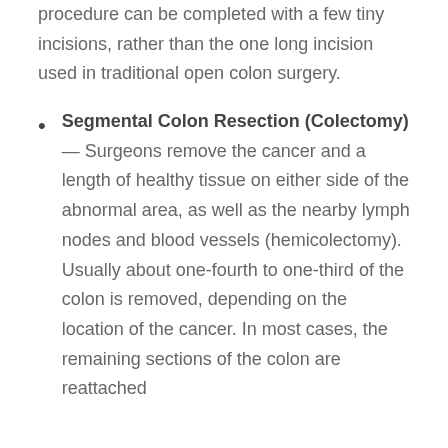procedure can be completed with a few tiny incisions, rather than the one long incision used in traditional open colon surgery.
Segmental Colon Resection (Colectomy) — Surgeons remove the cancer and a length of healthy tissue on either side of the abnormal area, as well as the nearby lymph nodes and blood vessels (hemicolectomy). Usually about one-fourth to one-third of the colon is removed, depending on the location of the cancer. In most cases, the remaining sections of the colon are reattached